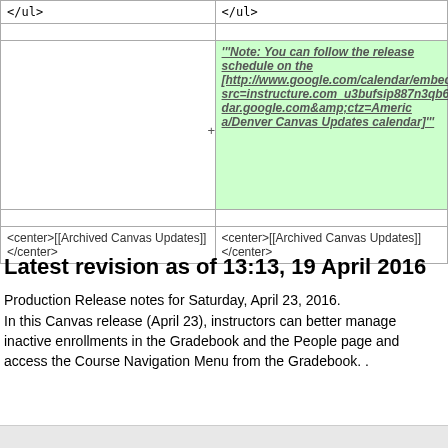| </ul> | </ul> |
|  | '''Note: You can follow the release schedule on the [http://www.google.com/calendar/embed?src=instructure.com_u3bufsip887n3qb6fht3rgnbts%40group.calendar.google.com&amp;ctz=America/Denver Canvas Updates calendar]''' |
| <center>[[Archived Canvas Updates]]</center> | <center>[[Archived Canvas Updates]]</center> |
Latest revision as of 13:13, 19 April 2016
Production Release notes for Saturday, April 23, 2016.
In this Canvas release (April 23), instructors can better manage inactive enrollments in the Gradebook and the People page and access the Course Navigation Menu from the Gradebook. .